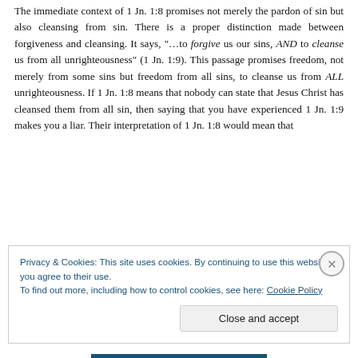The immediate context of 1 Jn. 1:8 promises not merely the pardon of sin but also cleansing from sin. There is a proper distinction made between forgiveness and cleansing. It says, "...to forgive us our sins, AND to cleanse us from all unrighteousness" (1 Jn. 1:9). This passage promises freedom, not merely from some sins but freedom from all sins, to cleanse us from ALL unrighteousness. If 1 Jn. 1:8 means that nobody can state that Jesus Christ has cleansed them from all sin, then saying that you have experienced 1 Jn. 1:9 makes you a liar. Their interpretation of 1 Jn. 1:8 would mean that
Privacy & Cookies: This site uses cookies. By continuing to use this website, you agree to their use.
To find out more, including how to control cookies, see here: Cookie Policy